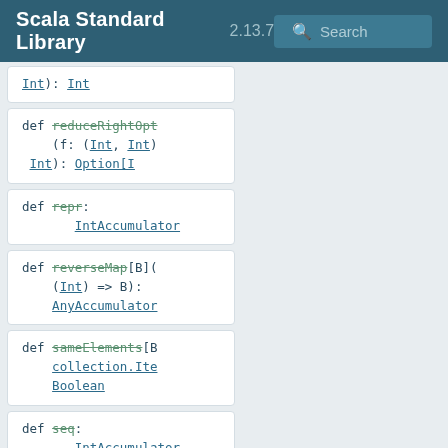Scala Standard Library 2.13.7 Search
def reduceRightOpt (f: (Int, Int) Int): Option[I
def repr: IntAccumulator
def reverseMap[B]( (Int) => B): AnyAccumulator
def sameElements[B collection.Ite Boolean
def seq: IntAccumulator
def size: Int
def sum(implicit n math.Numeric[I